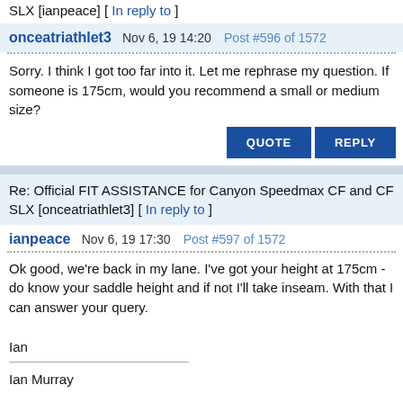SLX [ianpeace] [ In reply to ]
onceatriathlet3  Nov 6, 19 14:20  Post #596 of 1572
Sorry. I think I got too far into it. Let me rephrase my question. If someone is 175cm, would you recommend a small or medium size?
Re: Official FIT ASSISTANCE for Canyon Speedmax CF and CF SLX [onceatriathlet3] [ In reply to ]
ianpeace  Nov 6, 19 17:30  Post #597 of 1572
Ok good, we're back in my lane. I've got your height at 175cm - do know your saddle height and if not I'll take inseam. With that I can answer your query.

Ian
Ian Murray